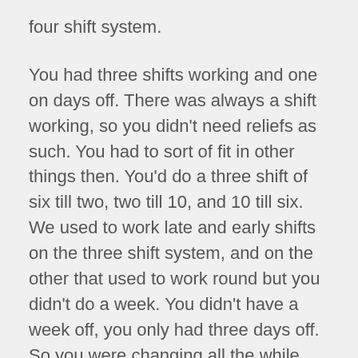four shift system.
You had three shifts working and one on days off. There was always a shift working, so you didn't need reliefs as such. You had to sort of fit in other things then. You'd do a three shift of six till two, two till 10, and 10 till six. We used to work late and early shifts on the three shift system, and on the other that used to work round but you didn't do a week. You didn't have a week off, you only had three days off. So you were changing all the while. Three days and you'd change. Or threes and fours.
You'd do three shifts: ten days on, then three days off. That worked roughly like that anyway. You'd do the shifts in the 10 days. You'd switch over, you'd go